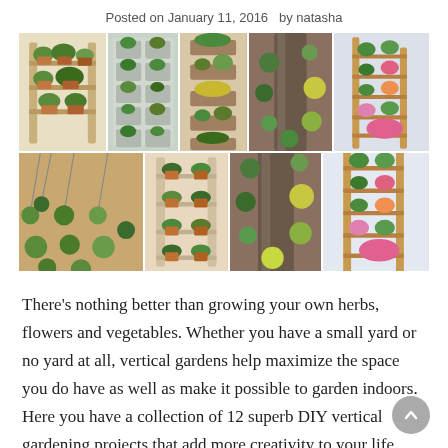Posted on January 11, 2016   by natasha
[Figure (photo): Collage of 6 vertical garden photos showing various DIY vertical gardening projects including ladder shelves with potted herbs, wall-mounted pocket planters, wall-hung terracotta pots, a tree trunk covered in succulents, and a wooden ladder leaning against a wall with potted colorful plants.]
There's nothing better than growing your own herbs, flowers and vegetables. Whether you have a small yard or no yard at all, vertical gardens help maximize the space you do have as well as make it possible to garden indoors. Here you have a collection of 12 superb DIY vertical gardening projects that add more creativity to your life using anything